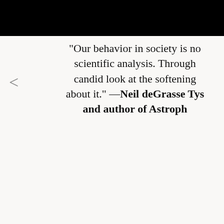“Our behavior in society is no scientific analysis. Through candid look at the softening about it.” —Neil deGrasse Tys and author of Astroph